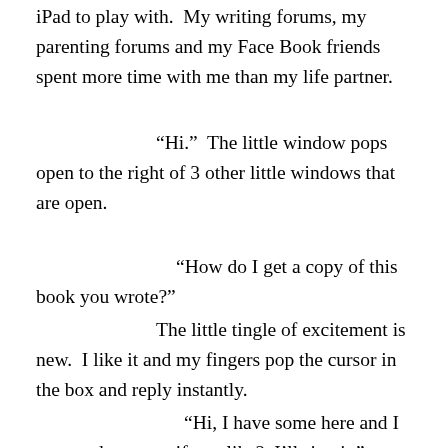iPad to play with.  My writing forums, my parenting forums and my Face Book friends spent more time with me than my life partner.
“Hi.”  The little window pops open to the right of 3 other little windows that are open.
“How do I get a copy of this book you wrote?”
The little tingle of excitement is new.  I like it and my fingers pop the cursor in the box and reply instantly.
“Hi, I have some here and I can send you one if you like?  I’ll sign it.”